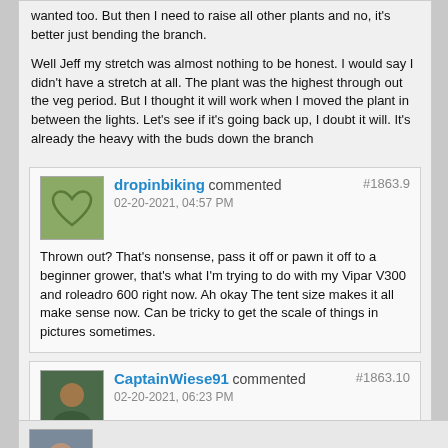wanted too. But then I need to raise all other plants and no, it's better just bending the branch.
Well Jeff my stretch was almost nothing to be honest. I would say I didn't have a stretch at all. The plant was the highest through out the veg period. But I thought it will work when I moved the plant in between the lights. Let's see if it's going back up, I doubt it will. It's already the heavy with the buds down the branch
dropinbiking commented #1863.9 02-20-2021, 04:57 PM
Thrown out? That's nonsense, pass it off or pawn it off to a beginner grower, that's what I'm trying to do with my Vipar V300 and roleadro 600 right now. Ah okay The tent size makes it all make sense now. Can be tricky to get the scale of things in pictures sometimes.
CaptainWiese91 commented #1863.10 02-20-2021, 06:23 PM
So stoned - I didn't even notice I posted that comment two times 🤦. Yea of course I'm selling it, what I meant by throwing it out 😋😋

Yea pictures don't always tell the right size of things. I asked last year my wife to buy me a tent, and she bought the biggest she could find 🤦♂
Holden90